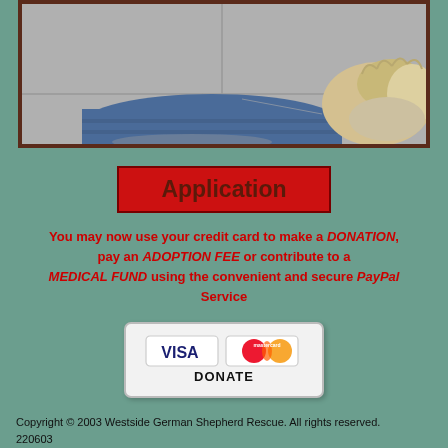[Figure (photo): Photo of a person lying on the ground with a fluffy light-colored dog, wearing jeans, on a concrete surface.]
Application
You may now use your credit card to make a DONATION, pay an ADOPTION FEE or contribute to a MEDICAL FUND using the convenient and secure PayPal Service
[Figure (logo): PayPal DONATE button showing Visa and Mastercard logos with the word DONATE underneath.]
Copyright © 2003 Westside German Shepherd Rescue. All rights reserved. 220603